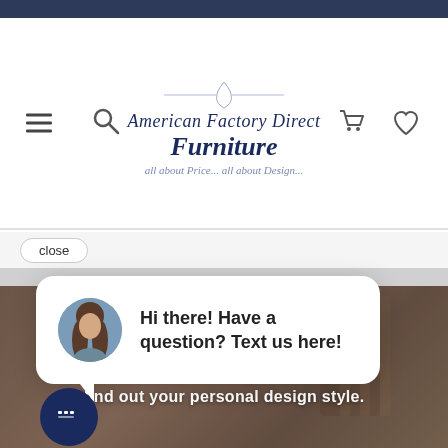[Figure (screenshot): Top dark blue navigation bar of a website]
[Figure (logo): American Factory Direct Furniture logo with tagline 'all about Price... all about Design...']
close
Hi there! Have a question? Text us here!
Answer a few questions find out your personal design style.